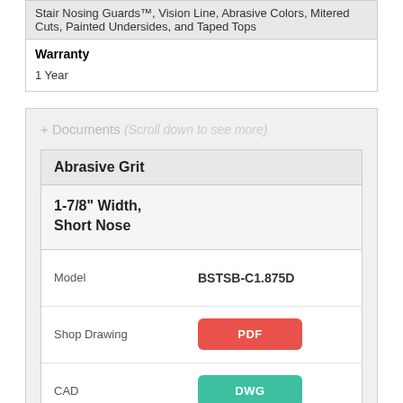Stair Nosing Guards™, Vision Line, Abrasive Colors, Mitered Cuts, Painted Undersides, and Taped Tops
| Warranty |
| --- |
| 1 Year |
+ Documents (Scroll down to see more)
| Abrasive Grit |
| --- |
| 1-7/8" Width, Short Nose |  |
| Model | BSTSB-C1.875D |
| Shop Drawing | PDF |
| CAD | DWG |
| BIM | LINK |